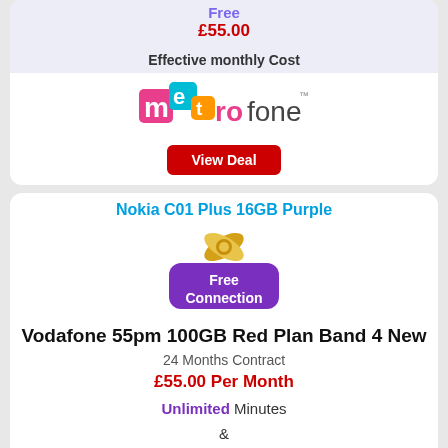Free
£55.00
Effective monthly Cost
[Figure (logo): Metrofone logo with colorful squares and text]
View Deal
Nokia C01 Plus 16GB Purple
[Figure (illustration): Free Connection badge with gold ribbon and purple label]
Vodafone 55pm 100GB Red Plan Band 4 New
24 Months Contract
£55.00 Per Month
Unlimited Minutes & Unlimited Texts + 100 GB Data
[Figure (logo): Vodafone red circle logo with white speech bubble and text]